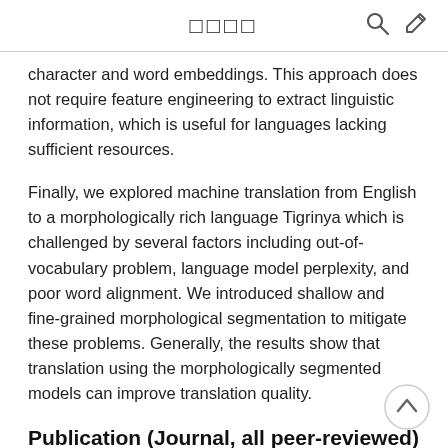□□□□
character and word embeddings. This approach does not require feature engineering to extract linguistic information, which is useful for languages lacking sufficient resources.
Finally, we explored machine translation from English to a morphologically rich language Tigrinya which is challenged by several factors including out-of-vocabulary problem, language model perplexity, and poor word alignment. We introduced shallow and fine-grained morphological segmentation to mitigate these problems. Generally, the results show that translation using the morphologically segmented models can improve translation quality.
Publication (Journal, all peer-reviewed)